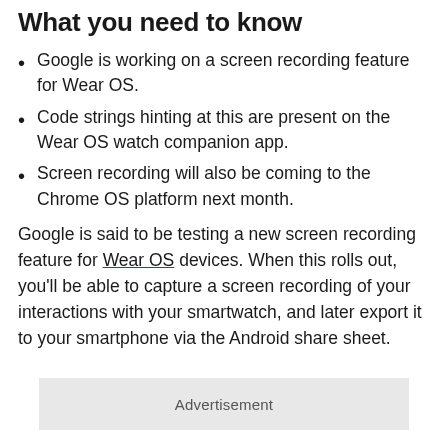What you need to know
Google is working on a screen recording feature for Wear OS.
Code strings hinting at this are present on the Wear OS watch companion app.
Screen recording will also be coming to the Chrome OS platform next month.
Google is said to be testing a new screen recording feature for Wear OS devices. When this rolls out, you'll be able to capture a screen recording of your interactions with your smartwatch, and later export it to your smartphone via the Android share sheet.
Advertisement